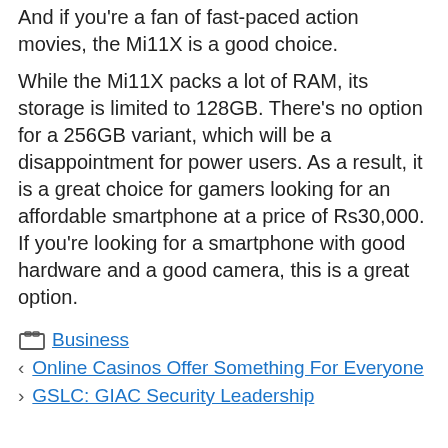And if you're a fan of fast-paced action movies, the Mi11X is a good choice.
While the Mi11X packs a lot of RAM, its storage is limited to 128GB. There's no option for a 256GB variant, which will be a disappointment for power users. As a result, it is a great choice for gamers looking for an affordable smartphone at a price of Rs30,000. If you're looking for a smartphone with good hardware and a good camera, this is a great option.
Business
Online Casinos Offer Something For Everyone
GSLC: GIAC Security Leadership